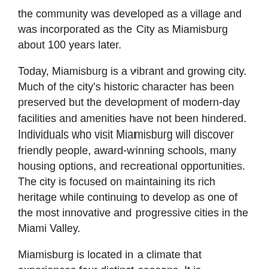the community was developed as a village and was incorporated as the City as Miamisburg about 100 years later.
Today, Miamisburg is a vibrant and growing city. Much of the city's historic character has been preserved but the development of modern-day facilities and amenities have not been hindered. Individuals who visit Miamisburg will discover friendly people, award-winning schools, many housing options, and recreational opportunities. The city is focused on maintaining its rich heritage while continuing to develop as one of the most innovative and progressive cities in the Miami Valley.
Miamisburg is located in a climate that experiences four distinct seasons. It is necessary for residents to have easy access to heating and cooling systems. Temperatures throughout the months of December, January, February average in the mid-30s. During the summer months, daytime temperature highs average in the mid-80s. Professional technicians are best suited to install HVAC systems in the homes of Miamisburg residents. When